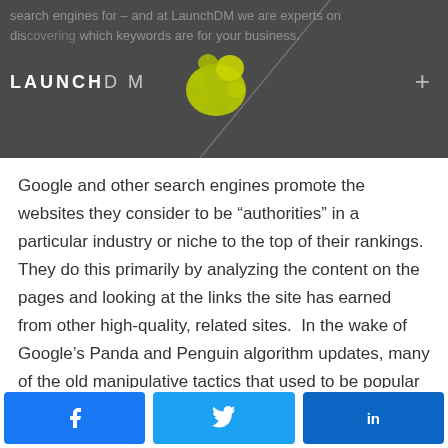search engines for – and at LaunchDM we are experts on discovering which keywords are for your business.
[Figure (logo): LaunchDM logo with yellow-green paint blob splash, white text on dark grey background, plus icon on right]
Google and other search engines promote the websites they consider to be “authorities” in a particular industry or niche to the top of their rankings. They do this primarily by analyzing the content on the pages and looking at the links the site has earned from other high-quality, related sites.  In the wake of Google’s Panda and Penguin algorithm updates, many of the old manipulative tactics that used to be popular for SEO no longer work. It’s important to focus on the tactics that
Facebook | Twitter | LinkedIn